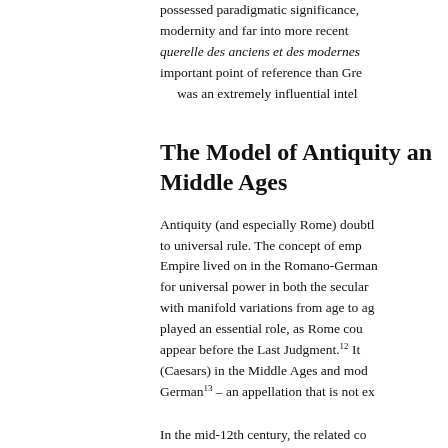possessed paradigmatic significance, modernity and far into more recent querelle des anciens et des modernes important point of reference than Gree was an extremely influential inte
The Model of Antiquity and Middle Ages
Antiquity (and especially Rome) doubtl to universal rule. The concept of emp Empire lived on in the Romano-German for universal power in both the secular with manifold variations from age to ag played an essential role, as Rome cou appear before the Last Judgment.¹² It (Caesars) in the Middle Ages and mod German¹³ – an appellation that is not ex...
In the mid-12th century, the related co the empire" to the Franks,¹⁵ and the na remained relevant until the end of the of the Kaisers from antiquity to modern distinguished position in Europe.¹⁶ Me...